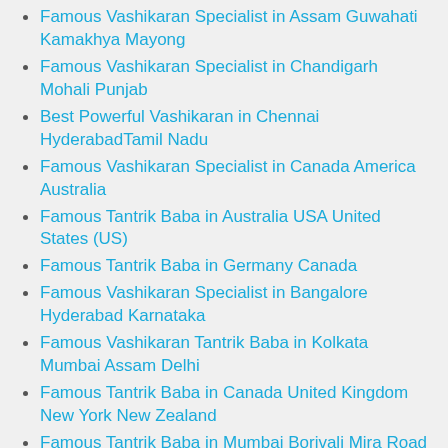Famous Vashikaran Specialist in Assam Guwahati Kamakhya Mayong
Famous Vashikaran Specialist in Chandigarh Mohali Punjab
Best Powerful Vashikaran in Chennai HyderabadTamil Nadu
Famous Vashikaran Specialist in Canada America Australia
Famous Tantrik Baba in Australia USA United States (US)
Famous Tantrik Baba in Germany Canada
Famous Vashikaran Specialist in Bangalore Hyderabad Karnataka
Famous Vashikaran Tantrik Baba in Kolkata Mumbai Assam Delhi
Famous Tantrik Baba in Canada United Kingdom New York New Zealand
Famous Tantrik Baba in Mumbai Borivali Mira Road Bandra Bhayander Thane Kurla Kalwa Vidyavihar Byculla Nala Sopara Vasai Road
Famous Tantrik Baba in UK (London) United Kingdom
Famous Tantrik Baba in Usa (new york) United states
Famous Tantrik Baba in Dubai